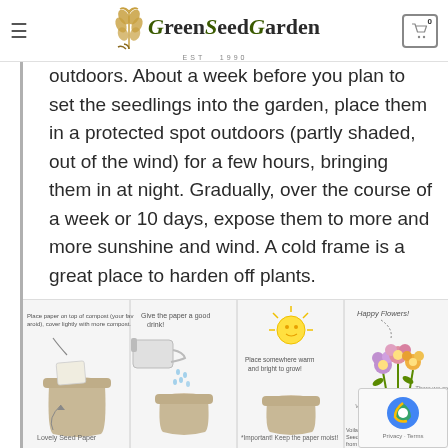GreenSeedGarden EST 1990
outdoors. About a week before you plan to set the seedlings into the garden, place them in a protected spot outdoors (partly shaded, out of the wind) for a few hours, bringing them in at night. Gradually, over the course of a week or 10 days, expose them to more and more sunshine and wind. A cold frame is a great place to harden off plants.
[Figure (illustration): Four-panel instructional illustration showing steps to grow plants from seed paper: (1) Place paper on top of compost, cover lightly with more compost - Lovely Seed Paper; (2) Give the paper a good drink - watering can pouring water; (3) Place somewhere warm and bright to grow - sun icon above pot - Important: Keep the paper moist!; (4) Happy Flowers! - blooming flowers in pot with text 'Voila! There we are! Seeds all now germinating from the paper, just if necessary.']